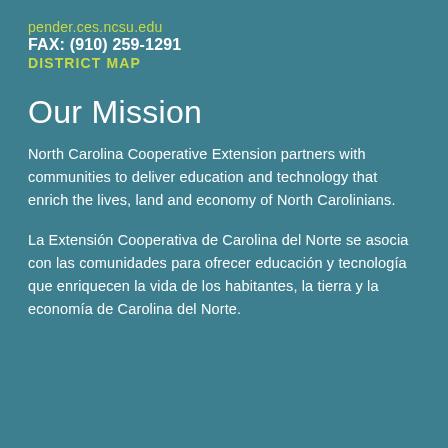pender.ces.ncsu.edu
FAX: (910) 259-1291
DISTRICT MAP
Our Mission
North Carolina Cooperative Extension partners with communities to deliver education and technology that enrich the lives, land and economy of North Carolinians.
La Extensión Cooperativa de Carolina del Norte se asocia con las comunidades para ofrecer educación y tecnología que enriquecen la vida de los habitantes, la tierra y la economía de Carolina del Norte.